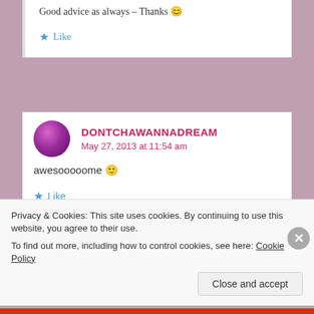Good advice as always – Thanks 😊
★ Like
DONTCHAWANNADREAM
May 27, 2013 at 11:54 am
awesooooome 🙂
★ Like
Privacy & Cookies: This site uses cookies. By continuing to use this website, you agree to their use.
To find out more, including how to control cookies, see here: Cookie Policy
Close and accept